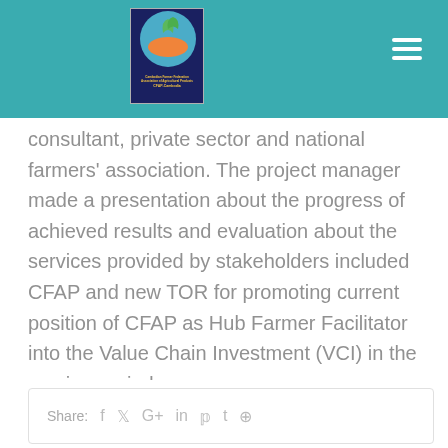[Figure (logo): CFAP-Cambodia logo — circular emblem with green leaves and orange shape on blue/navy background with text 'Cambodian Farmer Federation Association of Agricultural Producers CFAP-Cambodia']
consultant, private sector and national farmers' association. The project manager made a presentation about the progress of achieved results and evaluation about the services provided by stakeholders included CFAP and new TOR for promoting current position of CFAP as Hub Farmer Facilitator into the Value Chain Investment (VCI) in the coming period.
Share: